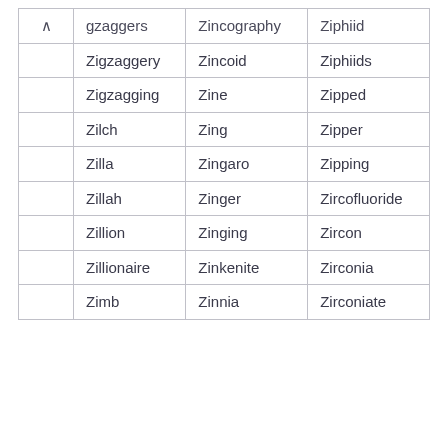| gzaggers | Zincography | Ziphiid |
| --- | --- | --- |
| Zigzaggery | Zincoid | Ziphiids |
| Zigzagging | Zine | Zipped |
| Zilch | Zing | Zipper |
| Zilla | Zingaro | Zipping |
| Zillah | Zinger | Zircofluoride |
| Zillion | Zinging | Zircon |
| Zillionaire | Zinkenite | Zirconia |
| Zimb | Zinnia | Zirconiate |